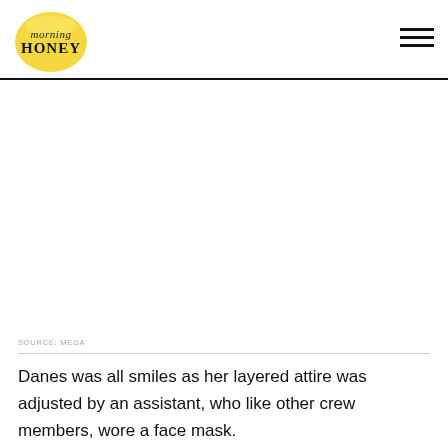morning HONEY
[Figure (photo): Photo placeholder area (white/blank) showing a layered attire scene on set]
SOURCE: MEGA
Danes was all smiles as her layered attire was adjusted by an assistant, who like other crew members, wore a face mask.